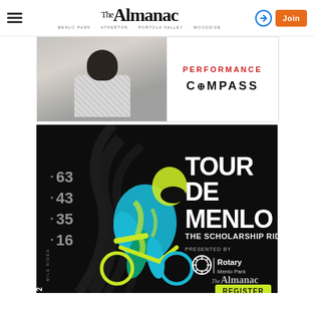The Almanac — Menlo Park · Atherton · Portola Valley · Woodside
[Figure (advertisement): Compass real estate performance advertisement with woman's photo]
[Figure (advertisement): Tour de Menlo — The Scholarship Ride. Sept. 17, 2022. Mile rides: 63, 43, 35, 16. Presented by Rotary Menlo Park and The Almanac. Register button.]